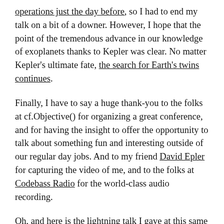operations just the day before, so I had to end my talk on a bit of a downer. However, I hope that the point of the tremendous advance in our knowledge of exoplanets thanks to Kepler was clear. No matter Kepler's ultimate fate, the search for Earth's twins continues.
Finally, I have to say a huge thank-you to the folks at cf.Objective() for organizing a great conference, and for having the insight to offer the opportunity to talk about something fun and interesting outside of our regular day jobs. And to my friend David Epler for capturing the video of me, and to the folks at Codebass Radio for the world-class audio recording.
Oh, and here is the lightning talk I gave at this same conference last year on the lifecycle of stars: